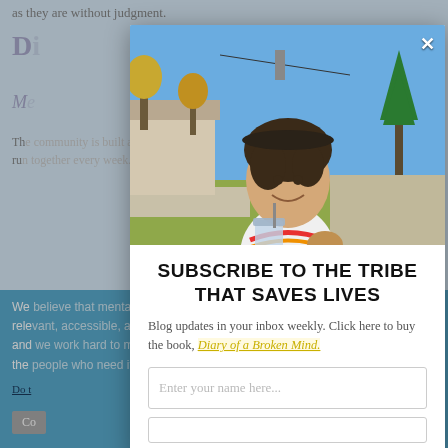as they are without judgment.
[Figure (photo): Young man smiling outdoors on a suburban street, wearing a white rainbow-print t-shirt and holding a drink, with trees and houses in background. A close-up X button appears in the top-right corner.]
SUBSCRIBE TO THE TRIBE THAT SAVES LIVES
Blog updates in your inbox weekly. Click here to buy the book, Diary of a Broken Mind.
Enter your name here...